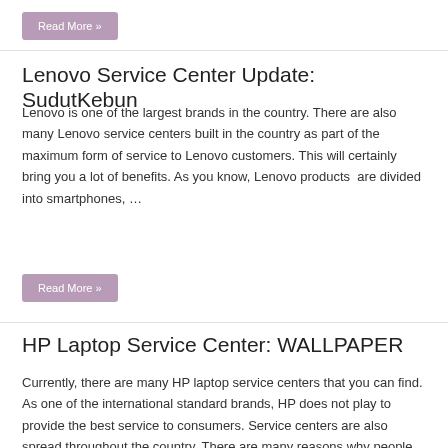Read More »
Lenovo Service Center Update: SudutKebun
Lenovo is one of the largest brands in the country. There are also many Lenovo service centers built in the country as part of the maximum form of service to Lenovo customers. This will certainly bring you a lot of benefits. As you know, Lenovo products  are divided into smartphones, …
Read More »
HP Laptop Service Center: WALLPAPER
Currently, there are many HP laptop service centers that you can find. As one of the international standard brands, HP does not play to provide the best service to consumers. Service centers are also spread throughout the country. There are many reasons why people prefer service centers compared to regular …
Read More »